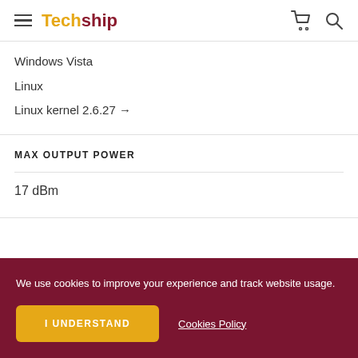Techship
Windows Vista
Linux
Linux kernel 2.6.27 →
MAX OUTPUT POWER
17 dBm
We use cookies to improve your experience and track website usage.
I UNDERSTAND
Cookies Policy